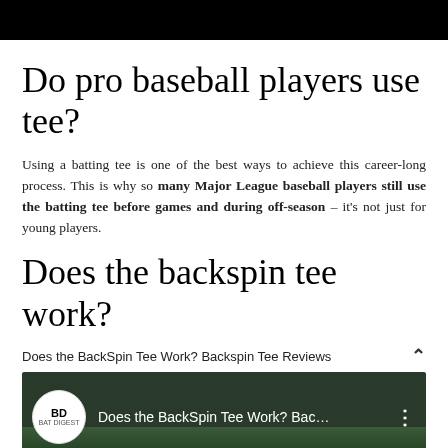Do pro baseball players use tee?
Using a batting tee is one of the best ways to achieve this career-long process. This is why so many Major League baseball players still use the batting tee before games and during off-season – it's not just for young players.
Does the backspin tee work?
Does the BackSpin Tee Work? Backspin Tee Reviews
[Figure (screenshot): Video thumbnail showing Bat Digest YouTube channel logo and video title 'Does the BackSpin Tee Work? Bac...' with outdoor scenery background]